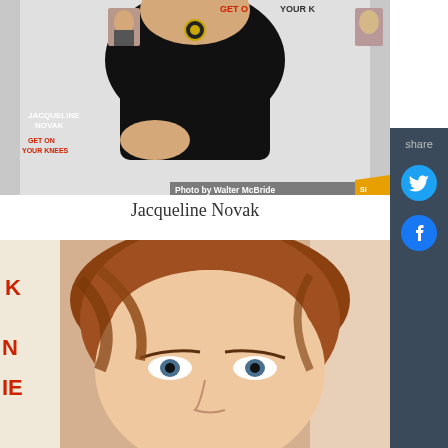[Figure (photo): Person in black outfit standing in front of a 'Jacqueline Novak: Get On Your Knees' backdrop. Photo credit: Photo by Walter McBride.]
Jacqueline Novak
[Figure (photo): Close-up photo of a woman with auburn/reddish-brown hair at the same event backdrop.]